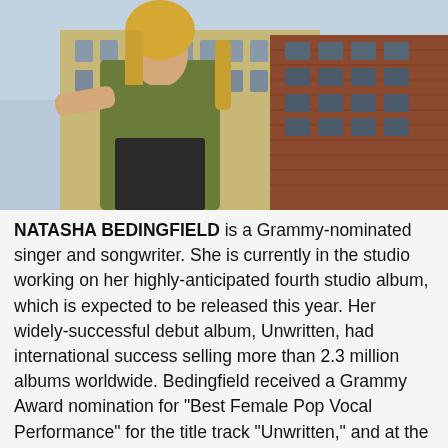[Figure (photo): Natasha Bedingfield standing on a rooftop or balcony with a cityscape and brick buildings in the background. She has long blonde hair and is wearing a green/olive crop top and dark trousers.]
NATASHA BEDINGFIELD is a Grammy-nominated singer and songwriter. She is currently in the studio working on her highly-anticipated fourth studio album, which is expected to be released this year. Her widely-successful debut album, Unwritten, had international success selling more than 2.3 million albums worldwide. Bedingfield received a Grammy Award nomination for "Best Female Pop Vocal Performance" for the title track "Unwritten," and at the 2005 and 2006 Brit Awards she was nominated for "Best British Female Artist". In addition she has also won two MTV awards.